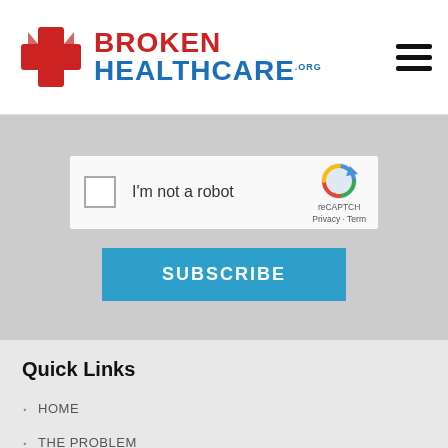[Figure (logo): Broken Healthcare .org logo with red medical cross icon and two-color text]
[Figure (screenshot): reCAPTCHA widget showing checkbox and 'I'm not a robot' label with reCAPTCHA logo and Privacy/Terms links]
SUBSCRIBE
Quick Links
HOME
THE PROBLEM
ABOUT US
DONATE